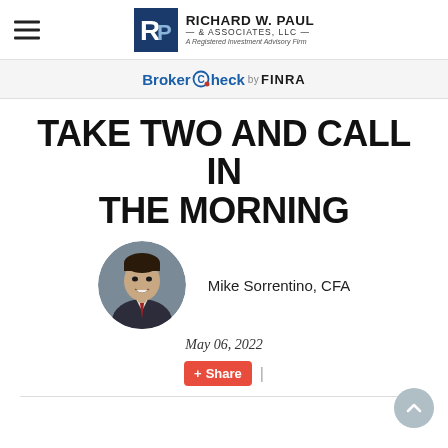Richard W. Paul & Associates, LLC — A Registered Investment Advisory Firm
BrokerCheck by FINRA
TAKE TWO AND CALL IN THE MORNING
[Figure (photo): Circular headshot of Mike Sorrentino, CFA — a man in a dark suit with a red tie, smiling, against a grey background.]
Mike Sorrentino, CFA
May 06, 2022
Share |